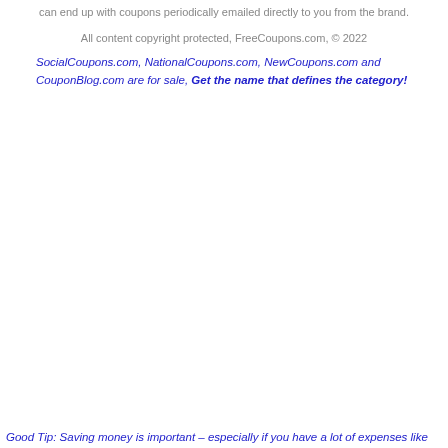can end up with coupons periodically emailed directly to you from the brand.
All content copyright protected, FreeCoupons.com, © 2022
SocialCoupons.com, NationalCoupons.com, NewCoupons.com and CouponBlog.com are for sale, Get the name that defines the category!
Good Tip: Saving money is important – especially if you have a lot of expenses like